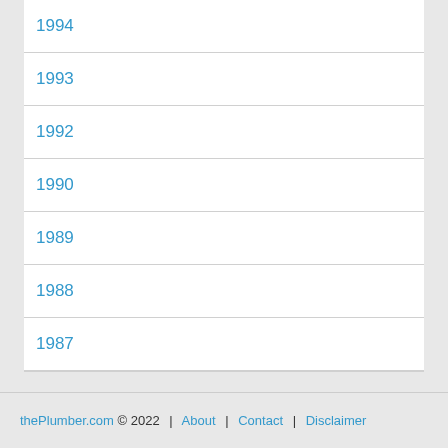1994
1993
1992
1990
1989
1988
1987
thePlumber.com © 2022 | About | Contact | Disclaimer